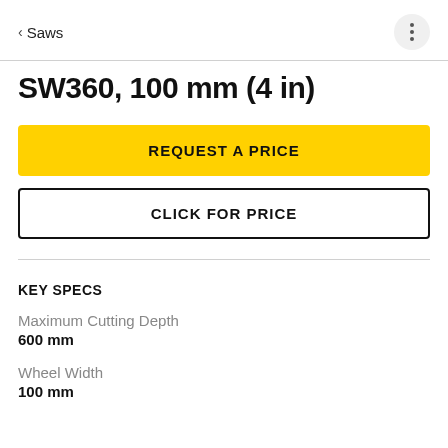< Saws
SW360, 100 mm (4 in)
REQUEST A PRICE
CLICK FOR PRICE
KEY SPECS
Maximum Cutting Depth
600 mm
Wheel Width
100 mm